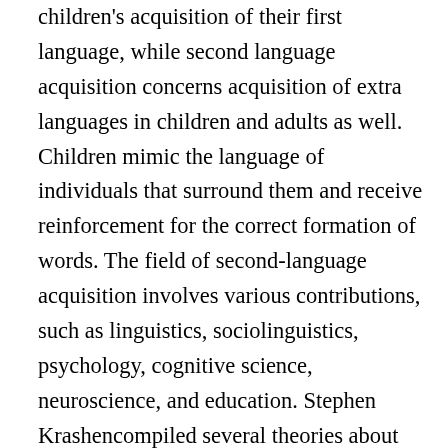children's acquisition of their first language, while second language acquisition concerns acquisition of extra languages in children and adults as well. Children mimic the language of individuals that surround them and receive reinforcement for the correct formation of words. The field of second-language acquisition involves various contributions, such as linguistics, sociolinguistics, psychology, cognitive science, neuroscience, and education. Stephen Krashencompiled several theories about language. Behaviorists believe we learn by associating events, known as classical conditioning. We can try and answer these questions with cross-linguistic studies, but it always comes back to the same debate.